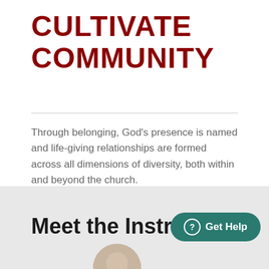CULTIVATE COMMUNITY
Through belonging, God's presence is named and life-giving relationships are formed across all dimensions of diversity, both within and beyond the church.
Meet the Instru
[Figure (photo): Circular avatar/portrait photo of an instructor, partially visible at bottom of page]
Get Help